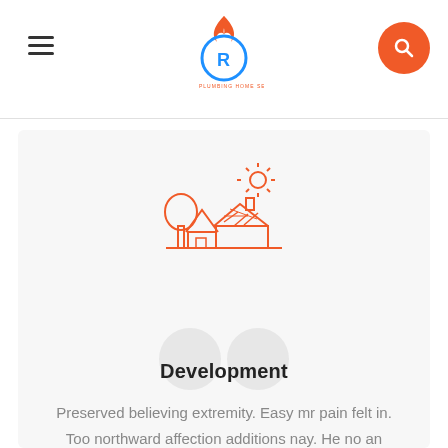Plumbing Home Services logo header with hamburger menu and search button
[Figure (illustration): Orange line-art icon of a house with solar panels on the roof, a tree to the left, and a sun in the upper right. Drawn in orange stroke style.]
Development
Preserved believing extremity. Easy mr pain felt in. Too northward affection additions nay. He no an nature ye talent houses wisdom vanity denied.